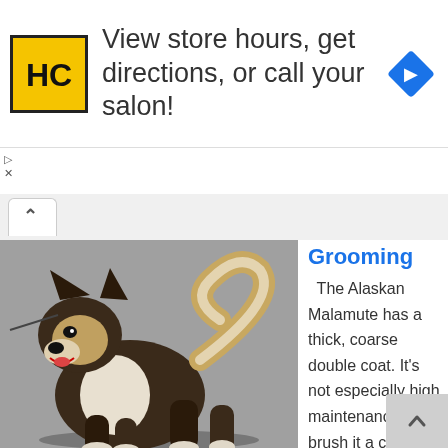[Figure (logo): HC logo - yellow square with black HC letters and border, advertisement banner saying 'View store hours, get directions, or call your salon!' with a blue diamond direction arrow icon]
[Figure (photo): Alaskan Malamute dog standing on a dark surface against a gray background, facing left with tail curled up]
Grooming
The Alaskan Malamute has a thick, coarse double coat. It's not especially high maintenance — brush it a couple of times a week to remove